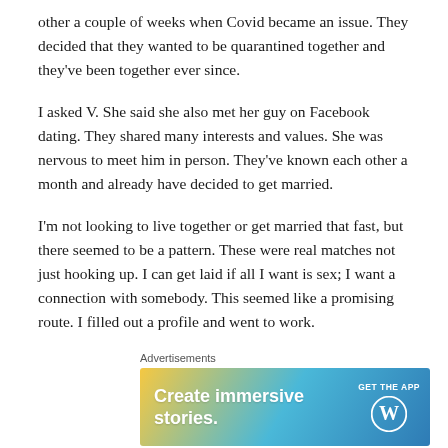other a couple of weeks when Covid became an issue. They decided that they wanted to be quarantined together and they've been together ever since.
I asked V. She said she also met her guy on Facebook dating. They shared many interests and values. She was nervous to meet him in person. They've known each other a month and already have decided to get married.
I'm not looking to live together or get married that fast, but there seemed to be a pattern. These were real matches not just hooking up. I can get laid if all I want is sex; I want a connection with somebody. This seemed like a promising route. I filled out a profile and went to work.
Advertisements
[Figure (other): WordPress advertisement banner with gradient background (yellow to blue). Text reads 'Create immersive stories.' with 'GET THE APP' and WordPress logo on the right.]